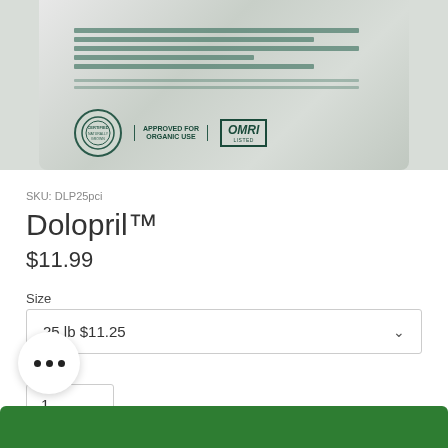[Figure (photo): Product bag image showing Dolopril fertilizer bag with OMRI organic certification seal and 'Approved for Organic Use' text]
SKU: DLP25pci
Dolopril™
$11.99
Size
25 lb $11.25
Quantity
1